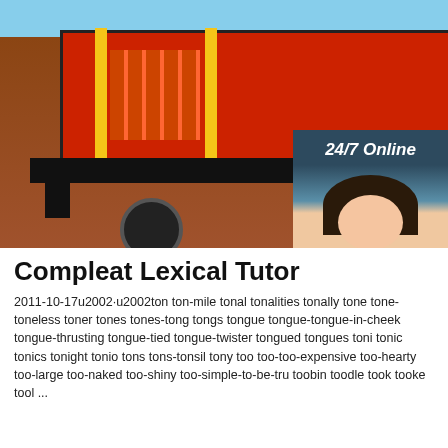[Figure (photo): Photo of a large red industrial scissor lift / machinery on wheels outdoors, with two workers, on a red surface. A sidebar overlay on the right shows a customer service agent with headset and text '24/7 Online', 'Click here for free chat!', and an orange 'QUOTATION' button.]
Compleat Lexical Tutor
2011-10-17u2002·u2002ton ton-mile tonal tonalities tonally tone tone-toneless toner tones tones-tong tongs tongue tongue-tongue-in-cheek tongue-thrusting tongue-tied tongue-twister tongued tongues toni tonic tonics tonight tonio tons tons-tonsil tony too too-too-expensive too-hearty too-large too-naked too-shiny too-simple-to-be-tru toobin toodle took tooke tool ...